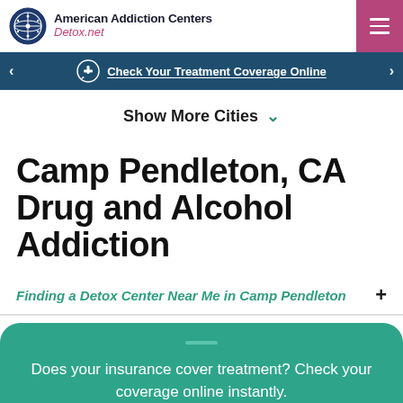American Addiction Centers Detox.net
Check Your Treatment Coverage Online
Show More Cities
Camp Pendleton, CA Drug and Alcohol Addiction
Finding a Detox Center Near Me in Camp Pendleton
Does your insurance cover treatment? Check your coverage online instantly.